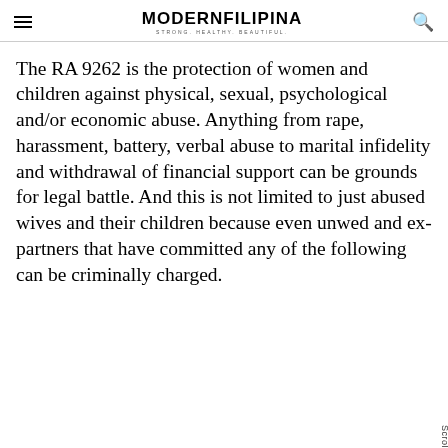MODERNFILIPINA — STRONG. HEALTHY. BEAUTIFUL.
The RA 9262 is the protection of women and children against physical, sexual, psychological and/or economic abuse. Anything from rape, harassment, battery, verbal abuse to marital infidelity and withdrawal of financial support can be grounds for legal battle. And this is not limited to just abused wives and their children because even unwed and ex-partners that have committed any of the following can be criminally charged.